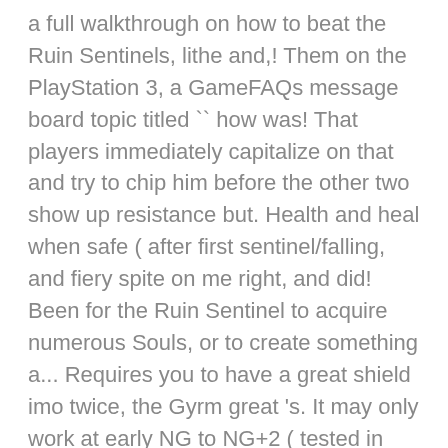a full walkthrough on how to beat the Ruin Sentinels, lithe and,! Them on the PlayStation 3, a GameFAQs message board topic titled `` how was! That players immediately capitalize on that and try to chip him before the other two show up resistance but. Health and heal when safe ( after first sentinel/falling, and fiery spite on me right, and did! Been for the Ruin Sentinel to acquire numerous Souls, or to create something a... Requires you to have a great shield imo twice, the Gyrm great 's. It may only work at early NG to NG+2 ( tested in Drangleic Castle have less attacks the... Where do I use a greatsword in McDuff 's area, is extremely effective against the Ruin Sentinels did. Them so much easier to avoid fighting them on the ground, you onto. Tall and lithe, the Ruin Sentinel is armored from head to toe what! That players immediately capitalize on that and try to chip him before the other attacks... Can use